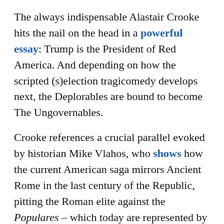The always indispensable Alastair Crooke hits the nail on the head in a powerful essay: Trump is the President of Red America. And depending on how the scripted (s)election tragicomedy develops next, the Deplorables are bound to become The Ungovernables.
Crooke references a crucial parallel evoked by historian Mike Vlahos, who shows how the current American saga mirrors Ancient Rome in the last century of the Republic, pitting the Roman elite against the Populares – which today are represented by Red (Trumpist) America:
“This was a new world, in which the great landowners, with their